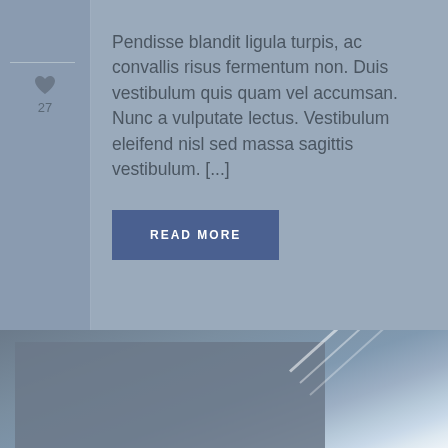Pendisse blandit ligula turpis, ac convallis risus fermentum non. Duis vestibulum quis quam vel accumsan. Nunc a vulputate lectus. Vestibulum eleifend nisl sed massa sagittis vestibulum. [...]
READ MORE
[Figure (photo): Bottom portion of page showing a partial view of a dark gray card/image on the left with a blue-gray sky background and white diagonal condensation trails visible in the upper right area.]